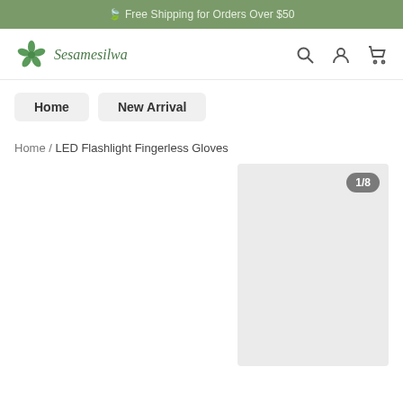🍃 Free Shipping for Orders Over $50
[Figure (logo): Sesamesilwa brand logo with green leaf/flower icon and italic green text]
Home / LED Flashlight Fingerless Gloves
[Figure (photo): Product image placeholder (light gray box) with image counter badge showing 1/8]